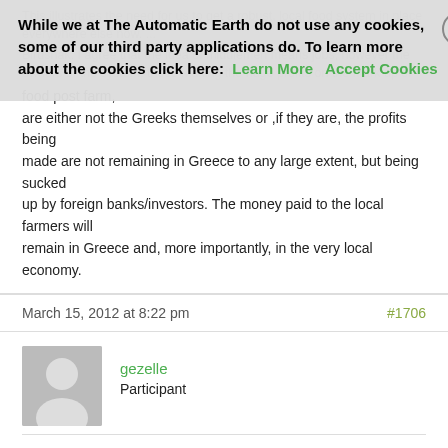This illustrates the need for us to get a robust, local food system in place everywhere now. ... Birdshak. I agree that the idea of middlemen means jobs, however the owners of the system, those making the huge profits on the mark up of food post farm, are either not the Greeks themselves or ,if they are, the profits being made are not remaining in Greece to any large extent, but being sucked up by foreign banks/investors. The money paid to the local farmers will remain in Greece and, more importantly, in the very local economy.
While we at The Automatic Earth do not use any cookies, some of our third party applications do. To learn more about the cookies click here: Learn More Accept Cookies
March 15, 2012 at 8:22 pm
#1706
gezelle
Participant
It might be interesting to see if this leads to the beginning of various CSA or food box schemes being attempted in the different local regions to supply not only basic produce but oil, olives, meat, poultry, local beans and pulses as well as bread from village wood fired ovens which still exist.
I think it still might attract taxes and overt rulings, but like Italy, when